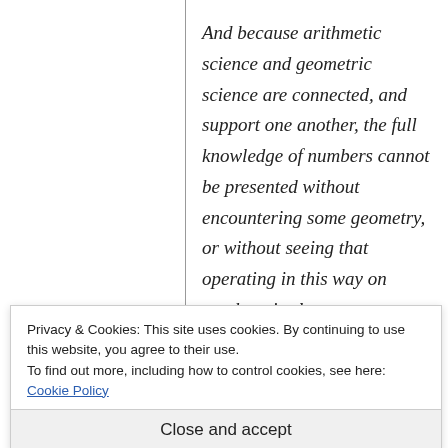And because arithmetic science and geometric science are connected, and support one another, the full knowledge of numbers cannot be presented without encountering some geometry, or without seeing that operating in this way on numbers is close to geometry; the method is full of many
Privacy & Cookies: This site uses cookies. By continuing to use this website, you agree to their use.
To find out more, including how to control cookies, see here: Cookie Policy
Close and accept